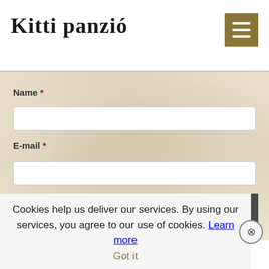Kitti panzió
Name *
E-mail *
Subject *
Cookies help us deliver our services. By using our services, you agree to our use of cookies. Learn more Got it